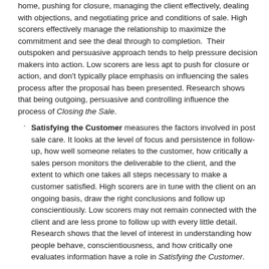home, pushing for closure, managing the client effectively, dealing with objections, and negotiating price and conditions of sale. High scorers effectively manage the relationship to maximize the commitment and see the deal through to completion.  Their outspoken and persuasive approach tends to help pressure decision makers into action. Low scorers are less apt to push for closure or action, and don't typically place emphasis on influencing the sales process after the proposal has been presented. Research shows that being outgoing, persuasive and controlling influence the process of Closing the Sale.
Satisfying the Customer measures the factors involved in post sale care. It looks at the level of focus and persistence in follow-up, how well someone relates to the customer, how critically a sales person monitors the deliverable to the client, and the extent to which one takes all steps necessary to make a customer satisfied. High scorers are in tune with the client on an ongoing basis, draw the right conclusions and follow up conscientiously. Low scorers may not remain connected with the client and are less prone to follow up with every little detail. Research shows that the level of interest in understanding how people behave, conscientiousness, and how critically one evaluates information have a role in Satisfying the Customer.
Managing and Growing covers factors relating to maintaining the customer relationship after a sale is completed and looking to identify emerging needs and new business opportunities from existing clients. High scorers are typically highly conscientious and show a good understanding of the client and their needs. Low scorers typically aren't